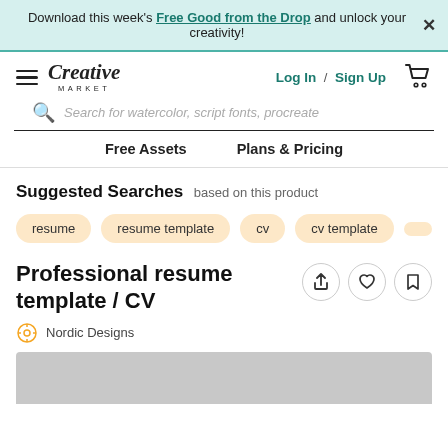Download this week's Free Good from the Drop and unlock your creativity!
[Figure (screenshot): Creative Market navigation bar with hamburger menu, logo, Log In / Sign Up links, and cart icon]
Search for watercolor, script fonts, procreate
Free Assets
Plans & Pricing
Suggested Searches based on this product
resume
resume template
cv
cv template
Professional resume template / CV
Nordic Designs